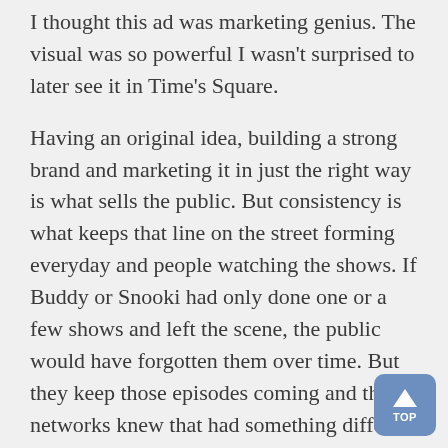I thought this ad was marketing genius. The visual was so powerful I wasn't surprised to later see it in Time's Square.
Having an original idea, building a strong brand and marketing it in just the right way is what sells the public. But consistency is what keeps that line on the street forming everyday and people watching the shows. If Buddy or Snooki had only done one or a few shows and left the scene, the public would have forgotten them over time. But they keep those episodes coming and the networks knew that had something different and spent the money to sell them.
Most small businesses don't have the